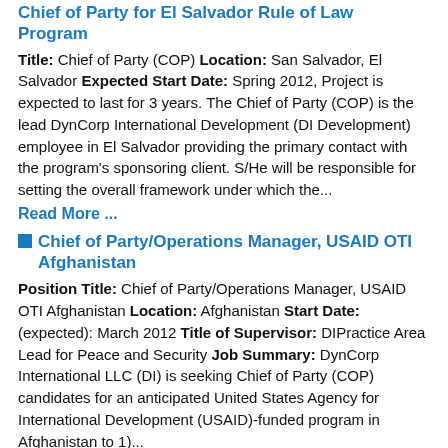Chief of Party for El Salvador Rule of Law Program
Title: Chief of Party (COP) Location: San Salvador, El Salvador Expected Start Date: Spring 2012, Project is expected to last for 3 years. The Chief of Party (COP) is the lead DynCorp International Development (DI Development) employee in El Salvador providing the primary contact with the program's sponsoring client. S/He will be responsible for setting the overall framework under which the...
Read More ...
Chief of Party/Operations Manager, USAID OTI Afghanistan
Position Title: Chief of Party/Operations Manager, USAID OTI Afghanistan Location: Afghanistan Start Date: (expected): March 2012 Title of Supervisor: DIPractice Area Lead for Peace and Security Job Summary: DynCorp International LLC (DI) is seeking Chief of Party (COP) candidates for an anticipated United States Agency for International Development (USAID)-funded program in Afghanistan to 1)...
Read More...